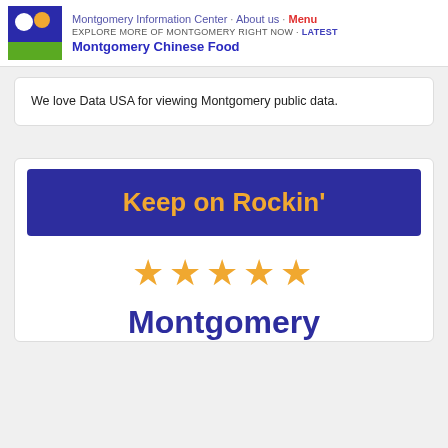Montgomery Information Center · About us · Menu
EXPLORE MORE OF MONTGOMERY RIGHT NOW · Latest
Montgomery Chinese Food
We love Data USA for viewing Montgomery public data.
[Figure (infographic): Keep on Rockin' banner in dark blue with gold text, followed by five gold stars and the word Montgomery in large dark blue bold text]
Montgomery